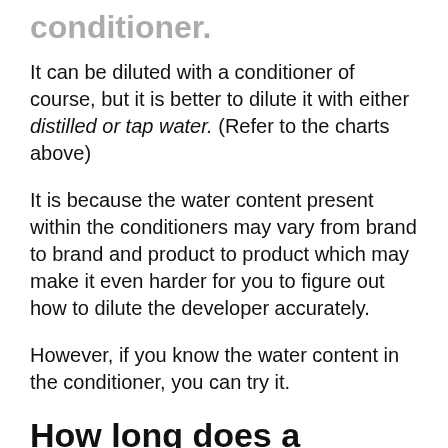conditioner.
It can be diluted with a conditioner of course, but it is better to dilute it with either distilled or tap water. (Refer to the charts above)
It is because the water content present within the conditioners may vary from brand to brand and product to product which may make it even harder for you to figure out how to dilute the developer accurately.
However, if you know the water content in the conditioner, you can try it.
How long does a developer usually last?